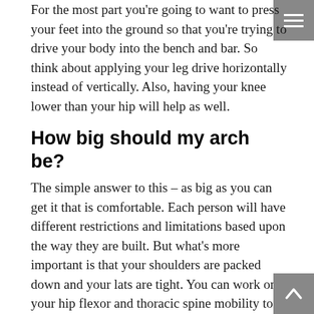For the most part you're going to want to press your feet into the ground so that you're trying to drive your body into the bench and bar. So think about applying your leg drive horizontally instead of vertically. Also, having your knee lower than your hip will help as well.
How big should my arch be?
The simple answer to this – as big as you can get it that is comfortable. Each person will have different restrictions and limitations based upon the way they are built. But what's more important is that your shoulders are packed down and your lats are tight. You can work on your hip flexor and thoracic spine mobility to see if this will aid you as well. A big arch isn't required to have a big bench press.
How do I address wrist and shoulder pain?
This is probably one of the most common questions when